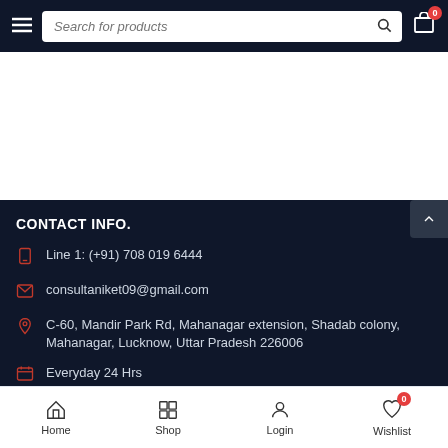Search for products | Cart: 0
CONTACT INFO.
Line 1: (+91) 708 019 6444
consultaniket09@gmail.com
C-60, Mandir Park Rd, Mahanagar extension, Shadab colony, Mahanagar, Lucknow, Uttar Pradesh 226006
Everyday 24 Hrs
Home | Shop | Login | Wishlist 0